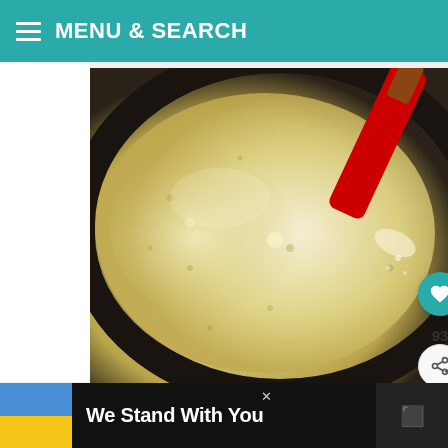MENU & SEARCH
[Figure (photo): Close-up photo of creamy batter in a dark pan being stirred with a red silicone spatula]
[Figure (photo): Thumbnail of smiling Black family lying together]
Black Families Matter
WHAT'S NEXT → Masala Chai Tea...
Using 2 spoons (one to dip into the batter
We Stand With You